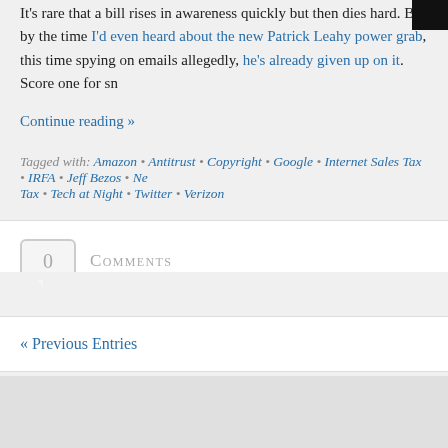It's rare that a bill rises in awareness quickly but then dies hard. But by the time I'd even heard about the new Patrick Leahy power grab, this time spying on emails allegedly, he's already given up on it. Score one for sn
Continue reading »
Tagged with: Amazon • Antitrust • Copyright • Google • Internet Sales Tax • IRFA • Jeff Bezos • Ne... Tax • Tech at Night • Twitter • Verizon
0 Comments
« Previous Entries